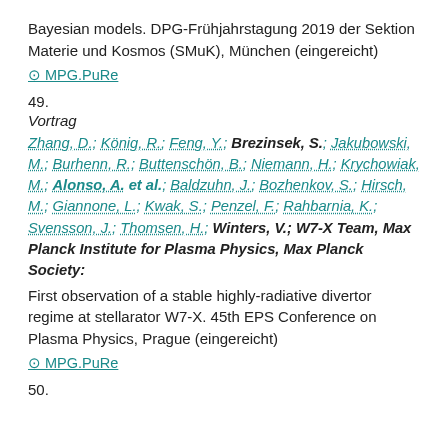Bayesian models. DPG-Frühjahrstagung 2019 der Sektion Materie und Kosmos (SMuK), München (eingereicht)
⊙ MPG.PuRe
49.
Vortrag
Zhang, D.; König, R.; Feng, Y.; Brezinsek, S.; Jakubowski, M.; Burhenn, R.; Buttenschön, B.; Niemann, H.; Krychowiak, M.; Alonso, A. et al.; Baldzuhn, J.; Bozhenkov, S.; Hirsch, M.; Giannone, L.; Kwak, S.; Penzel, F.; Rahbarnia, K.; Svensson, J.; Thomsen, H.; Winters, V.; W7-X Team, Max Planck Institute for Plasma Physics, Max Planck Society:
First observation of a stable highly-radiative divertor regime at stellarator W7-X. 45th EPS Conference on Plasma Physics, Prague (eingereicht)
⊙ MPG.PuRe
50.